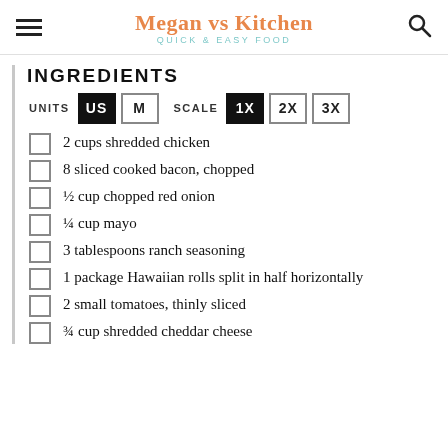Megan vs Kitchen QUICK & EASY FOOD
INGREDIENTS
UNITS US M   SCALE 1X 2X 3X
2 cups shredded chicken
8 sliced cooked bacon, chopped
½ cup chopped red onion
¼ cup mayo
3 tablespoons ranch seasoning
1 package Hawaiian rolls split in half horizontally
2 small tomatoes, thinly sliced
¾ cup shredded cheddar cheese